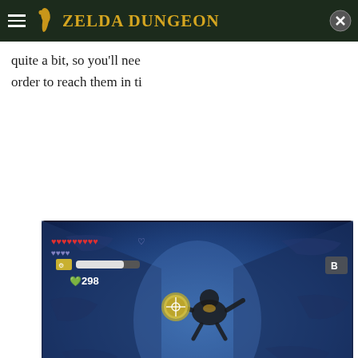Zelda Dungeon
quite a bit, so you'll need order to reach them in ti
[Figure (screenshot): Zelda Skyward Sword gameplay screenshot showing Link swimming in a blue underwater tunnel. HUD shows hearts, stamina bar, and 298 rupees. Bottom shows swim control prompt with nunchuk icon.]
[Figure (screenshot): Zelda Skyward Sword gameplay screenshot showing an aerial/sky view with green landscape and purple sky. HUD shows hearts.]